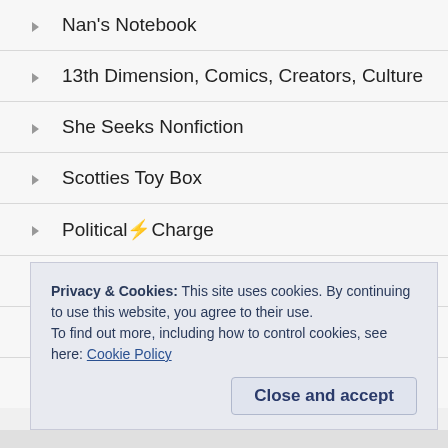Nan's Notebook
13th Dimension, Comics, Creators, Culture
She Seeks Nonfiction
Scotties Toy Box
Political⚡Charge
The Whitechapel Whelk
musingsofanoldfart
John Branyan
Privacy & Cookies: This site uses cookies. By continuing to use this website, you agree to their use.
To find out more, including how to control cookies, see here: Cookie Policy
Close and accept